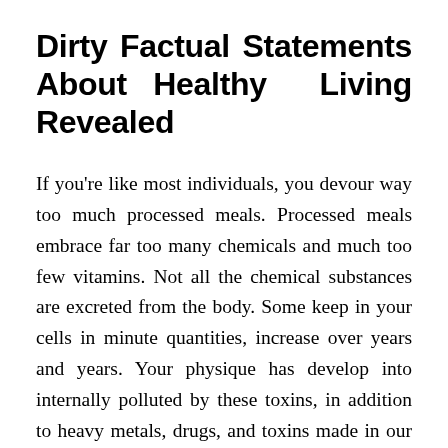Dirty Factual Statements About Healthy Living Revealed
If you're like most individuals, you devour way too much processed meals. Processed meals embrace far too many chemicals and much too few vitamins. Not all the chemical substances are excreted from the body. Some keep in your cells in minute quantities, increase over years and years. Your physique has develop into internally polluted by these toxins, in addition to heavy metals, drugs, and toxins made in our our our bodies due to allergic reactions. On excessive of that, with few vitamins in the